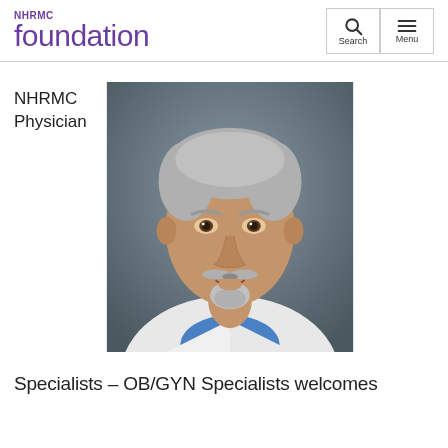NHRMC foundation
NHRMC Physician
[Figure (photo): Professional headshot of a male physician with gray hair and a goatee, wearing a white lab coat and blue plaid shirt, smiling, against a dark gray background.]
Specialists – OB/GYN Specialists welcomes